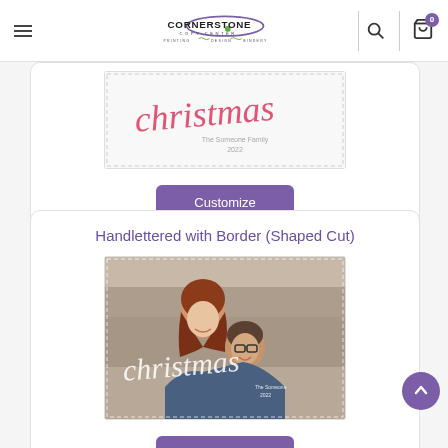Cornerstone Copy Center — Printing | Design | Bindery
[Figure (screenshot): Partial Christmas card template with script 'christmas' text on white/light background with small photo]
Customize
Handlettered with Border (Shaped Cut)
[Figure (photo): Christmas card template showing couple photo (woman with red hair, man with glasses smiling) with white script 'christmas' overlay text]
Customize